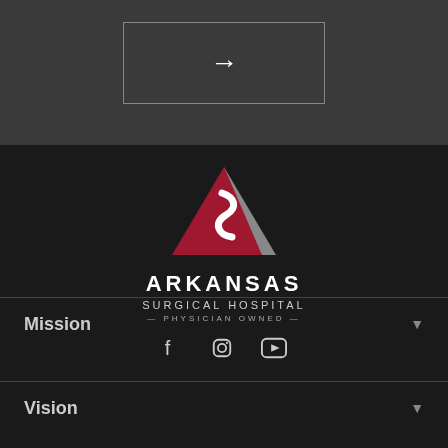[Figure (other): Arrow button in a bordered box on dark gray background]
[Figure (logo): Arkansas Surgical Hospital logo with red triangle and S-curve, text ARKANSAS SURGICAL HOSPITAL PHYSICIAN OWNED, and social media icons (Facebook, Instagram, YouTube)]
Mission
Vision